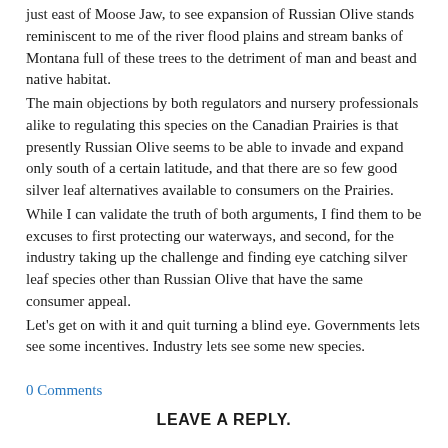just east of Moose Jaw, to see expansion of Russian Olive stands reminiscent to me of the river flood plains and stream banks of Montana full of these trees to the detriment of man and beast and native habitat.
The main objections by both regulators and nursery professionals alike to regulating this species on the Canadian Prairies is that presently Russian Olive seems to be able to invade and expand only south of a certain latitude, and that there are so few good silver leaf alternatives available to consumers on the Prairies.
While I can validate the truth of both arguments, I find them to be excuses to first protecting our waterways, and second, for the industry taking up the challenge and finding eye catching silver leaf species other than Russian Olive that have the same consumer appeal.
Let's get on with it and quit turning a blind eye. Governments lets see some incentives. Industry lets see some new species.
0 Comments
LEAVE A REPLY.